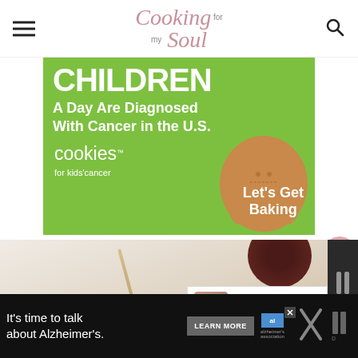Cooking for my Soul
[Figure (infographic): Green banner ad: 'CHILDREN A Day Are Diagnosed With Cancer in the U.S.' with cookies for kids' cancer logo and 'Let's Get Baking' text, featuring a cookie shape.]
[Figure (photo): Food photography showing strawberries, spoon, and wine glass in soft light background.]
WHAT'S NEXT → Delicious Fluffy...
[Figure (infographic): Bottom dark ad banner: 'It's time to talk about Alzheimer's.' with LEARN MORE button and Alzheimer's Association logo.]